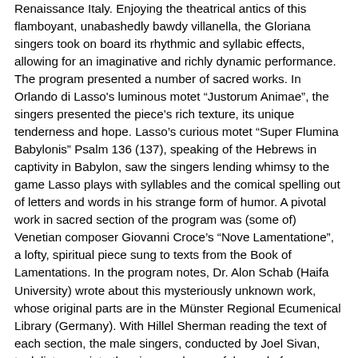Renaissance Italy. Enjoying the theatrical antics of this flamboyant, unabashedly bawdy villanella, the Gloriana singers took on board its rhythmic and syllabic effects, allowing for an imaginative and richly dynamic performance. The program presented a number of sacred works. In Orlando di Lasso's luminous motet “Justorum Animae”, the singers presented the piece’s rich texture, its unique tenderness and hope. Lasso’s curious motet “Super Flumina Babylonis” Psalm 136 (137), speaking of the Hebrews in captivity in Babylon, saw the singers lending whimsy to the game Lasso plays with syllables and the comical spelling out of letters and words in his strange form of humor. A pivotal work in sacred section of the program was (some of) Venetian composer Giovanni Croce’s “Nove Lamentatione”, a lofty, spiritual piece sung to texts from the Book of Lamentations. In the program notes, Dr. Alon Schab (Haifa University) wrote about this mysteriously unknown work, whose original parts are in the Münster Regional Ecumenical Library (Germany). With Hillel Sherman reading the text of each section, the male singers, conducted by Joel Sivan, took listeners into the pious and mournful mood of Lamentations, allowing time to place phrases strategically, those phrase endings carefully shaped. On a lighter note, the